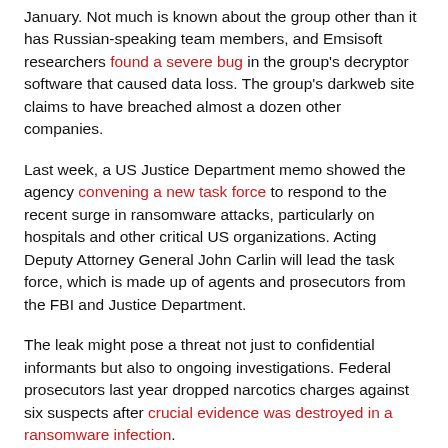January. Not much is known about the group other than it has Russian-speaking team members, and Emsisoft researchers found a severe bug in the group's decryptor software that caused data loss. The group's darkweb site claims to have breached almost a dozen other companies.
Last week, a US Justice Department memo showed the agency convening a new task force to respond to the recent surge in ransomware attacks, particularly on hospitals and other critical US organizations. Acting Deputy Attorney General John Carlin will lead the task force, which is made up of agents and prosecutors from the FBI and Justice Department.
The leak might pose a threat not just to confidential informants but also to ongoing investigations. Federal prosecutors last year dropped narcotics charges against six suspects after crucial evidence was destroyed in a ransomware infection.
Source link